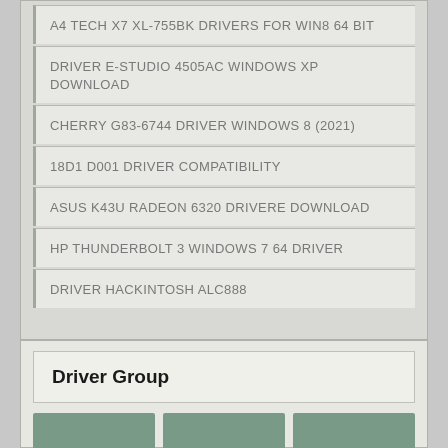A4 TECH X7 XL-755BK DRIVERS FOR WIN8 64 BIT
DRIVER E-STUDIO 4505AC WINDOWS XP DOWNLOAD
CHERRY G83-6744 DRIVER WINDOWS 8 (2021)
18D1 D001 DRIVER COMPATIBILITY
ASUS K43U RADEON 6320 DRIVERE DOWNLOAD
HP THUNDERBOLT 3 WINDOWS 7 64 DRIVER
DRIVER HACKINTOSH ALC888
Driver Group
[Figure (other): Three grey-green thumbnail image placeholders in a row]